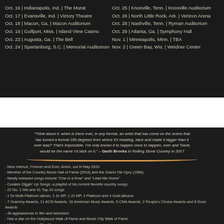Oct. 16 | Indianapolis, Ind. | The Murat
Oct. 17 | Evansville, Ind. | Victory Theatre
Oct. 18 | Macon, Ga. | Macon Auditorium
Oct. 19 | Gulfport, Miss. | Island View Casino
Oct. 23 | Augusta, Ga. | The Bell
Oct. 24 | Spartanburg, S.C. | Memorial Auditorium
Oct. 25 | Knoxville, Tenn. | Knoxville Auditorium
Oct. 26 | North Little Rock, Ark. | Verizon Arena
Oct. 28 | Nashville, Tenn. | Ryman Auditorium
Oct. 29 | Atlanta, Ga. | Symphony Hall
Nov. 1 | Minneapolis, Minn. | TBA
Nov. 2 | Green Bay, Wis. | Weidner Center
"Think about it: when is there ever, in any format, an artist that has come on the scene that has turned a format 180 degrees from where it's heading, back and made it bigger than it ever was? That's impossible. I've only known it to happen once to happen, ever and Travis would be the name I'd stick on it." – Garth Brooks to Rolling Stone Country in 2017
- New memoir, Forever and Ever, Amen, out in May 2019
- Member of the Country Music Hall of Fame (2016) and the Grand Ole Opry (1986)
- Newly released songs include "One in a Row" and "Lead Me Home"
- Curates Diggin' Up Songs, a playlist of his current favorite country songs
- 22 No. 1 hits and 31 Top-10 songs
- 1 5x Multi-Platinum album, 1 3x MP, 1 2x MP, 4 Platinum and 4 Gold albums
- 7 Grammy Awards, 11 ACM Awards, 10 American Music Awards, 5 CMA Awards, 2 People's Choice Awards and 8 Dove Awards
- 46 appearances in film and television
- Has a star on the Hollywood Walk of Fame and Music City Walk of Fame
- Lifetime sales over 25 million
- Named in the Top 40 Country Artists of All-Time by Rolling Stone
- Follow Randy Travis on his website here: RandyTravis.com
- Bio and assets available here: 117group.com/randy-travis
ABOUT RANDY TRAVIS
With lifetime sales in excess of 25 million, Randy Travis is one of the biggest multi-genre record sellers of all time and a recent inductee into the Country Music Hall of Fame class of 2016. His honors include seven Grammy Awards, 11 Academy of Country Music statuettes, 10 American Music Awards, two People's Choice awards, seven Music City News awards, eight Dove Awards from the Gospel Music Association and five Country Music Association honors. In addition, three of his performances earned CMA Song of the Year honors: "On the Other Hand" (1986), "Forever and Ever Amen" (1987) and "Three Wooden Crosses" (2002). To date, he has 22 No. 1 singles, 31 Top-10 smashes and more than 46 appearances in feature films and...